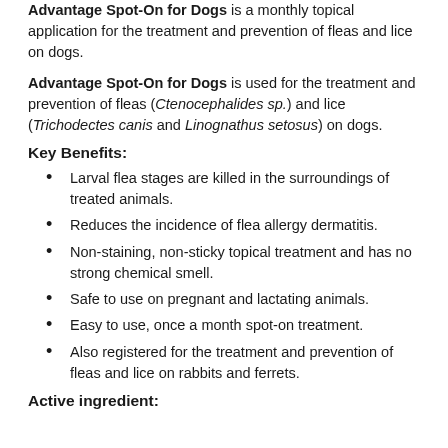Advantage Spot-On for Dogs is a monthly topical application for the treatment and prevention of fleas and lice on dogs.
Advantage Spot-On for Dogs is used for the treatment and prevention of fleas (Ctenocephalides sp.) and lice (Trichodectes canis and Linognathus setosus) on dogs.
Key Benefits:
Larval flea stages are killed in the surroundings of treated animals.
Reduces the incidence of flea allergy dermatitis.
Non-staining, non-sticky topical treatment and has no strong chemical smell.
Safe to use on pregnant and lactating animals.
Easy to use, once a month spot-on treatment.
Also registered for the treatment and prevention of fleas and lice on rabbits and ferrets.
Active ingredient: